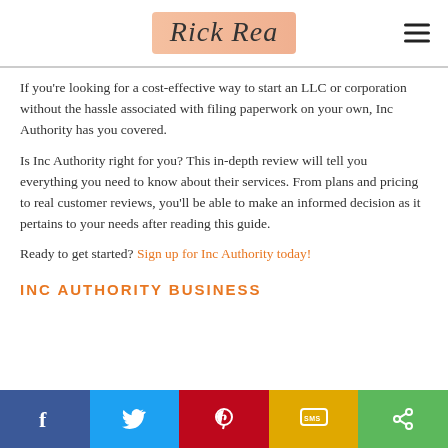Rick Rea
If you’re looking for a cost-effective way to start an LLC or corporation without the hassle associated with filing paperwork on your own, Inc Authority has you covered.
Is Inc Authority right for you? This in-depth review will tell you everything you need to know about their services. From plans and pricing to real customer reviews, you’ll be able to make an informed decision as it pertains to your needs after reading this guide.
Ready to get started? Sign up for Inc Authority today!
INC AUTHORITY BUSINESS